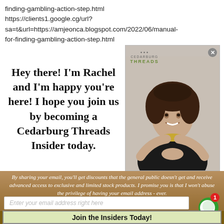finding-gambling-action-step.html
https://clients1.google.cg/url?
sa=t&url=https://amjeonca.blogspot.com/2022/06/manual-for-finding-gambling-action-step.html
Hey there! I'm Rachel and I'm happy you're here! I hope you join us by becoming a Cedarburg Threads Insider today.
[Figure (photo): Woman with curly hair wearing a black tank top and gold necklace, smiling. Cedarburg Threads logo visible in upper left of image.]
By sharing your email, you'll get discounts that the general public doesn't get and receive advanced access to exclusive and limited stock products. I promise you is that I won't abuse the privilege of having your email address - ever.
Enter your email address right here
Join the Insiders Today!